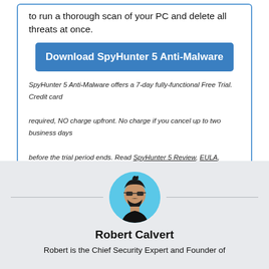to run a thorough scan of your PC and delete all threats at once.
Download SpyHunter 5 Anti-Malware
SpyHunter 5 Anti-Malware offers a 7-day fully-functional Free Trial. Credit card required, NO charge upfront. No charge if you cancel up to two business days before the trial period ends. Read SpyHunter 5 Review, EULA, Privacy Policy, and Discount Terms. See more Free SpyHunter Remover details.
[Figure (illustration): Circular avatar of Robert Calvert, a bearded man with sunglasses on a light blue background]
Robert Calvert
Robert is the Chief Security Expert and Founder of